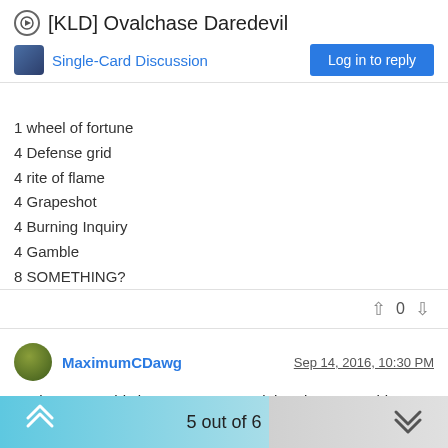[KLD] Ovalchase Daredevil
Single-Card Discussion
1 wheel of fortune
4 Defense grid
4 rite of flame
4 Grapeshot
4 Burning Inquiry
4 Gamble
8 SOMETHING?
MaximumCDawg — Sep 14, 2016, 10:30 PM
Yeah, I mean, this is a Cog. It's a card that does something unique and its worth knowing about, but it has no machine in which to put itself at the moment. it doesn't work in Vintage playable builds right now. I plumbed the Gatherer today and came up blank on things to
5 out of 6